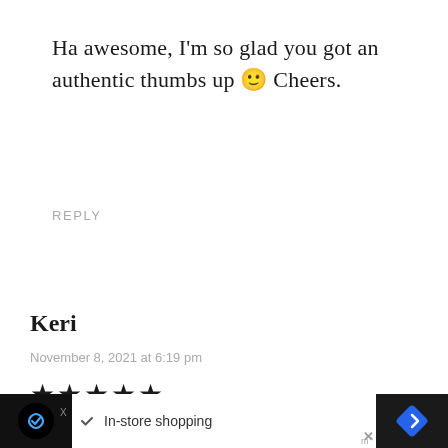Ha awesome, I'm so glad you got an authentic thumbs up 🙂 Cheers.
REPLY
Keri
November 8, 2021 at 6:19 pm
★★★★★
My hubby and I just made these for supper a
In-store shopping